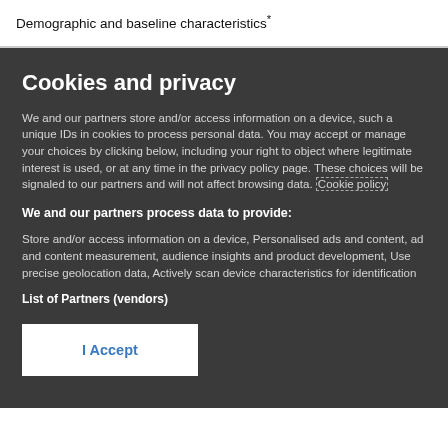Demographic and baseline characteristics*
Cookies and privacy
We and our partners store and/or access information on a device, such as unique IDs in cookies to process personal data. You may accept or manage your choices by clicking below, including your right to object where legitimate interest is used, or at any time in the privacy policy page. These choices will be signaled to our partners and will not affect browsing data. Cookie policy
We and our partners process data to provide:
Store and/or access information on a device, Personalised ads and content, ad and content measurement, audience insights and product development, Use precise geolocation data, Actively scan device characteristics for identification
List of Partners (vendors)
I Accept